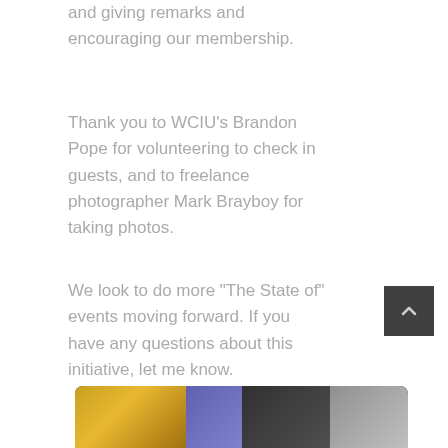and giving remarks and encouraging our membership.
Thank you to WCIU's Brandon Pope for volunteering to check in guests, and to freelance photographer Mark Brayboy for taking photos.
We look to do more "The State of" events moving forward. If you have any questions about this initiative, let me know.
[Figure (photo): A partial view of a photo strip showing people or objects with golden/yellow and purple tones against a dark background, appearing at the bottom of the page.]